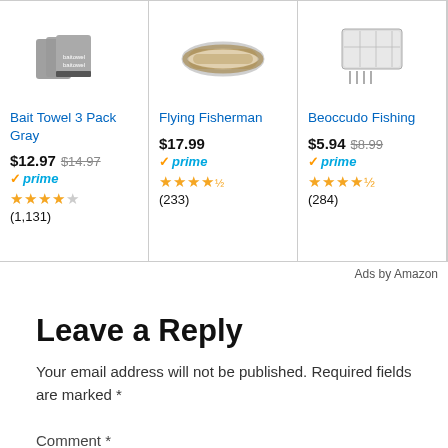[Figure (screenshot): Amazon product ad: Bait Towel 3 Pack Gray, $12.97 (was $14.97), Prime, 4 stars, (1,131) reviews]
[Figure (screenshot): Amazon product ad: Flying Fisherman, $17.99, Prime, 4 stars, (233) reviews]
[Figure (screenshot): Amazon product ad: Beoccudo Fishing, $5.94 (was $8.99), Prime, 4.5 stars, (284) reviews]
[Figure (screenshot): Amazon product ad: TOPF... 187/2..., $36.99, Prime, 4 stars, (11,07...) reviews]
Ads by Amazon
Leave a Reply
Your email address will not be published. Required fields are marked *
Comment *